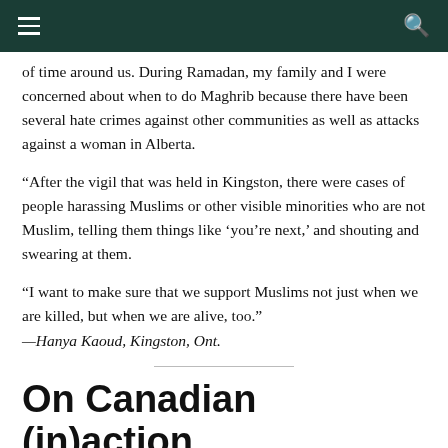of time around us. During Ramadan, my family and I were concerned about when to do Maghrib because there have been several hate crimes against other communities as well as attacks against a woman in Alberta.
“After the vigil that was held in Kingston, there were cases of people harassing Muslims or other visible minorities who are not Muslim, telling them things like ‘you’re next,’ and shouting and swearing at them.
“I want to make sure that we support Muslims not just when we are killed, but when we are alive, too.”
—Hanya Kaoud, Kingston, Ont.
On Canadian (in)action